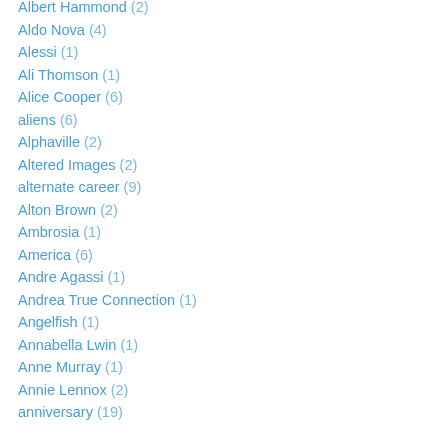Albert Hammond (2)
Aldo Nova (4)
Alessi (1)
Ali Thomson (1)
Alice Cooper (6)
aliens (6)
Alphaville (2)
Altered Images (2)
alternate career (9)
Alton Brown (2)
Ambrosia (1)
America (6)
Andre Agassi (1)
Andrea True Connection (1)
Angelfish (1)
Annabella Lwin (1)
Anne Murray (1)
Annie Lennox (2)
anniversary (19)